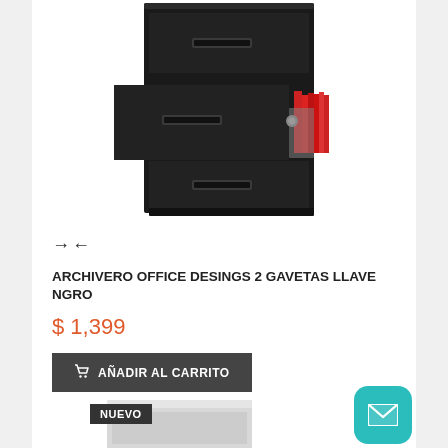[Figure (photo): Black metal 2-drawer filing cabinet with one drawer open showing red hanging files and a key lock]
→←
ARCHIVERO OFFICE DESINGS 2 GAVETAS LLAVE NGRO
$ 1,399
AÑADIR AL CARRITO
[Figure (photo): Light gray filing cabinet partially visible at bottom of page with NUEVO badge]
NUEVO